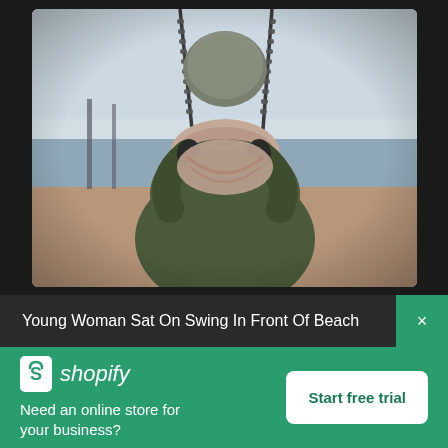[Figure (photo): Back view of a young woman wearing a green jacket and pink fuzzy scarf and knit hat, sitting on a swing at a beach, holding swing chains, with water and sky visible in background]
Young Woman Sat On Swing In Front Of Beach
[Figure (logo): Shopify logo: white shopping bag icon with 'S' and italic text 'shopify']
Need an online store for your business?
Start free trial